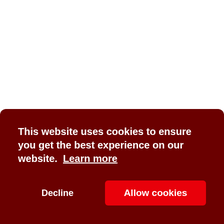On the heels of the Solar Eclipse in Taurus just a couple weeks before, we now have the Lunar Eclipse in Scorpio ready to grace the s[…] dram[…] mon[…]
This website uses cookies to ensure you get the best experience on our website. Learn more
Decline
Allow cookies